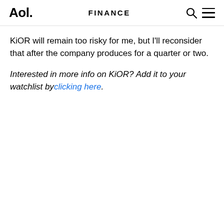Aol. FINANCE
KiOR will remain too risky for me, but I'll reconsider that after the company produces for a quarter or two.
Interested in more info on KiOR? Add it to your watchlist by clicking here.